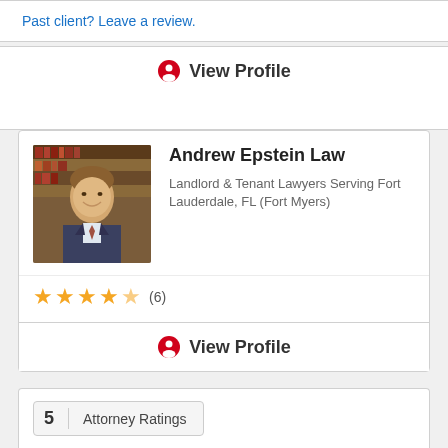Past client? Leave a review.
View Profile
Andrew Epstein Law
Landlord & Tenant Lawyers Serving Fort Lauderdale, FL (Fort Myers)
[Figure (photo): Photo of Andrew Epstein, attorney, in suit and tie, with law books in background]
★★★★☆ (6)
View Profile
5  Attorney Ratings